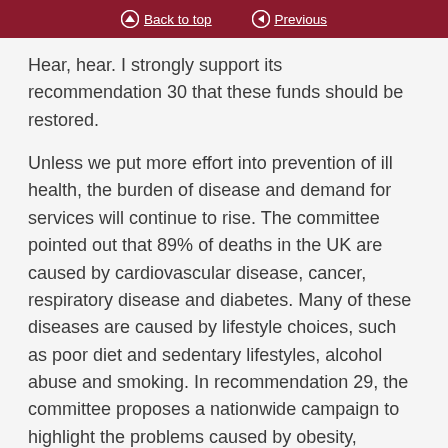Back to top | Previous
Hear, hear. I strongly support its recommendation 30 that these funds should be restored.
Unless we put more effort into prevention of ill health, the burden of disease and demand for services will continue to rise. The committee pointed out that 89% of deaths in the UK are caused by cardiovascular disease, cancer, respiratory disease and diabetes. Many of these diseases are caused by lifestyle choices, such as poor diet and sedentary lifestyles, alcohol abuse and smoking. In recommendation 29, the committee proposes a nationwide campaign to highlight the problems caused by obesity, particularly among children. I hope that my speech on child obesity last week indicated how much I support that. I welcome the